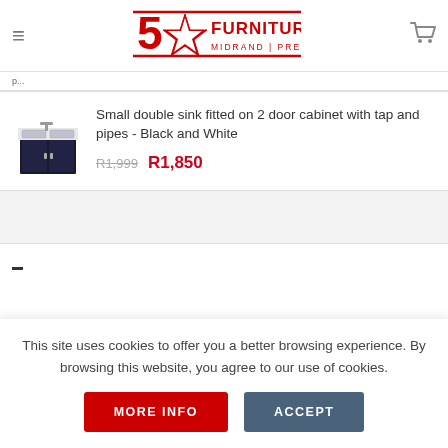[Figure (logo): 5 Star Furniture logo with red star and text reading FURNITURE MIDRAND | PRETORIA]
Small double sink fitted on 2 door cabinet with tap and pipes - Black and White
R1,999  R1,850
This site uses cookies to offer you a better browsing experience. By browsing this website, you agree to our use of cookies.
MORE INFO
ACCEPT